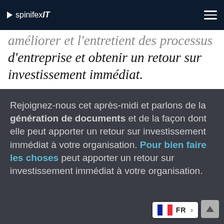spinifexIT
améliorer et l'entretient des processus d'entreprise et obtenir un retour sur investissement immédiat.
Rejoignez-nous cet après-midi et parlons de la génération de documents et de la façon dont elle peut apporter un retour sur investissement immédiat à votre organisation. Pour bien faire les choses peut apporter un retour sur investissement immédiat à votre organisation.